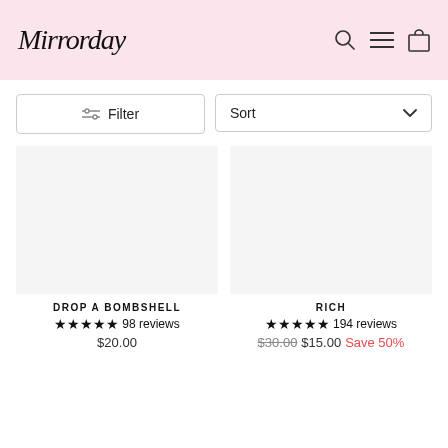Mirrorday
Filter
Sort
DROP A BOMBSHELL ★★★★★ 98 reviews $20.00
RICH ★★★★★ 194 reviews $30.00 $15.00 Save 50%